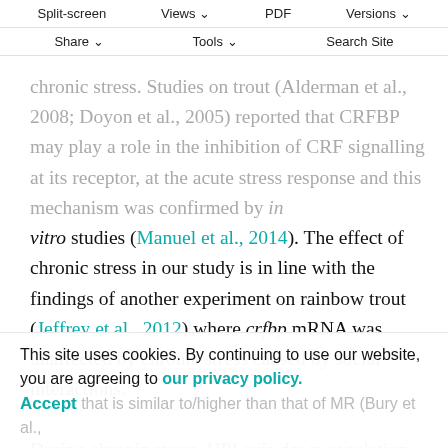Split-screen  Views  PDF  Versions  Share  Tools  Search Site
vitro studies (Manuel et al., 2014). The effect of chronic stress in our study is in line with the findings of another experiment on rainbow trout (Jeffrey et al., 2012) where crfbp mRNA was unaffected by chronic stress caused by social interactions.
During chronic stress, HPI axis down-regulation (Barton, 2002; Barton et al., 1987; Vijayan and Leatherland, 1990) in salmonids and in other teleostean fish results from sensitive feedback mediated by the two glucocorticoid receptors, GR1 and GR2, which have a high affinity for
This site uses cookies. By continuing to use our website, you are agreeing to our privacy policy. Accept that is similar to/higher than that of MR (Bury et al.,